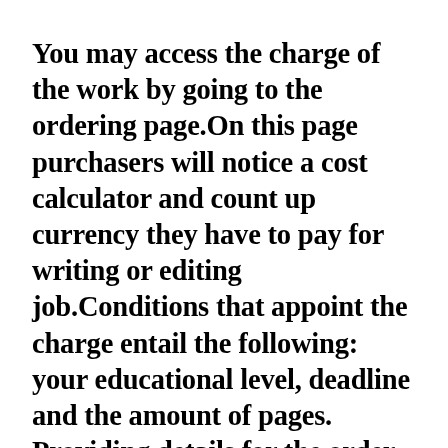You may access the charge of the work by going to the ordering page.On this page purchasers will notice a cost calculator and count up currency they have to pay for writing or editing job.Conditions that appoint the charge entail the following: your educational level, deadline and the amount of pages. Providing details for the order form, students are recommended to specify all necessary details for essay to